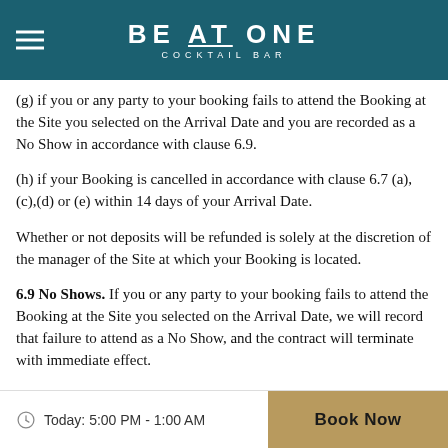BE AT ONE COCKTAIL BAR
(g) if you or any party to your booking fails to attend the Booking at the Site you selected on the Arrival Date and you are recorded as a No Show in accordance with clause 6.9.
(h) if your Booking is cancelled in accordance with clause 6.7 (a), (c),(d) or (e) within 14 days of your Arrival Date.
Whether or not deposits will be refunded is solely at the discretion of the manager of the Site at which your Booking is located.
6.9 No Shows. If you or any party to your booking fails to attend the Booking at the Site you selected on the Arrival Date, we will record that failure to attend as a No Show, and the contract will terminate with immediate effect.
Today: 5:00 PM - 1:00 AM   Book Now